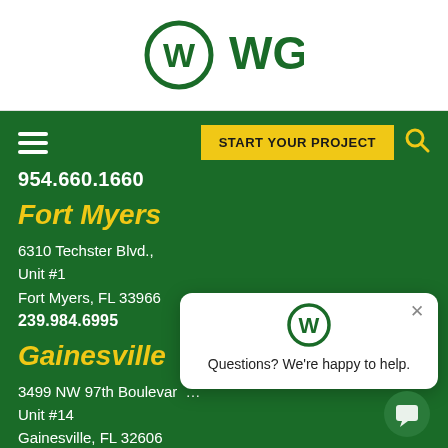[Figure (logo): WGI company logo with W in circle and WGI text]
[Figure (screenshot): Navigation bar with hamburger menu, START YOUR PROJECT button, and search icon]
954.660.1660
Fort Myers
6310 Techster Blvd., Unit #1
Fort Myers, FL 33966
239.984.6995
Gainesville
3499 NW 97th Boulevard, Unit #14
Gainesville, FL 32606
352.565.6850
Houston
[Figure (screenshot): Chat popup with WGI logo and text: Questions? We're happy to help.]